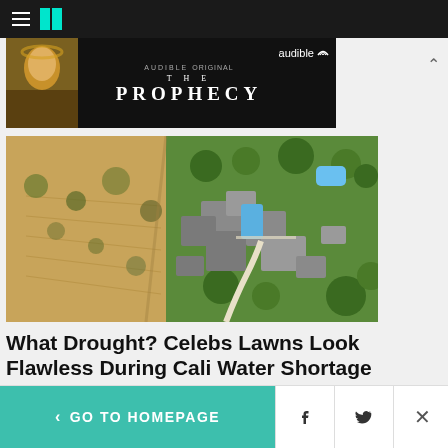HuffPost navigation bar with hamburger menu and logo
[Figure (photo): Audible Original advertisement banner for 'The Prophecy' audiobook, showing a robed figure on dark background with audible branding]
[Figure (photo): Aerial view of a large estate with green lawns, swimming pools, and surrounding dry/brown landscape showing drought contrast in California]
What Drought? Celebs Lawns Look Flawless During Cali Water Shortage
HuffPost
< GO TO HOMEPAGE | Facebook share | Twitter share | Close